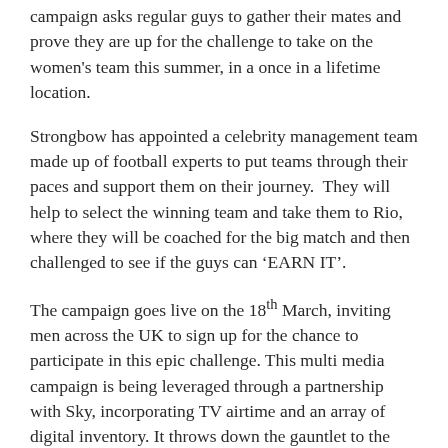campaign asks regular guys to gather their mates and prove they are up for the challenge to take on the women's team this summer, in a once in a lifetime location.
Strongbow has appointed a celebrity management team made up of football experts to put teams through their paces and support them on their journey.  They will help to select the winning team and take them to Rio, where they will be coached for the big match and then challenged to see if the guys can ‘EARN IT’.
The campaign goes live on the 18th March, inviting men across the UK to sign up for the chance to participate in this epic challenge. This multi media campaign is being leveraged through a partnership with Sky, incorporating TV airtime and an array of digital inventory. It throws down the gauntlet to the Strongbow audience –  driving them to sign up at facebook.com/Strongbow.
The campaign also sees a partnership with Google that